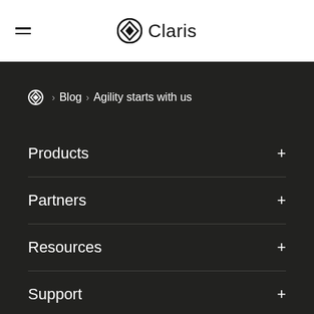≡ Claris
Home › Blog › Agility starts with us
Products +
Partners +
Resources +
Support +
Company +